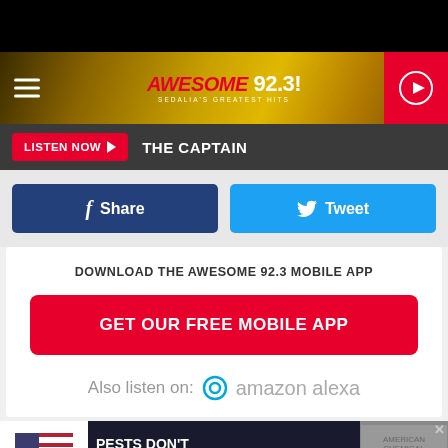[Figure (screenshot): Awesome 92.3 radio station website header with golden textured background, hamburger menu icon on left, Awesome 92.3 logo in center, red play button on right]
LISTEN NOW ▶   THE CAPTAIN
[Figure (screenshot): Facebook Share button (blue) and Twitter Tweet button (cyan) side by side]
DOWNLOAD THE AWESOME 92.3 MOBILE APP
GET OUR FREE MOBILE APP
Also listen on:  amazon alexa
[Figure (screenshot): Advertisement banner: American Chemical pest control ad with text PESTS DON'T STAND A CHANCE! and Book Today button]